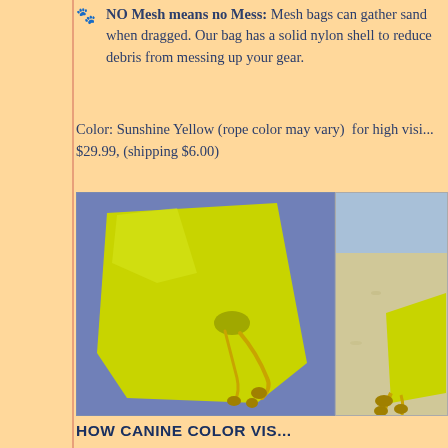NO Mesh means no Mess: Mesh bags can gather sand when dragged. Our bag has a solid nylon shell to reduce debris from messing up your gear.
Color: Sunshine Yellow (rope color may vary)  for high visi... $29.99, (shipping $6.00)
[Figure (photo): Yellow nylon drawstring bag laid flat on a blue-purple background]
[Figure (photo): Yellow nylon drawstring bag on sandy beach]
HOW CANINE COLOR VIS...